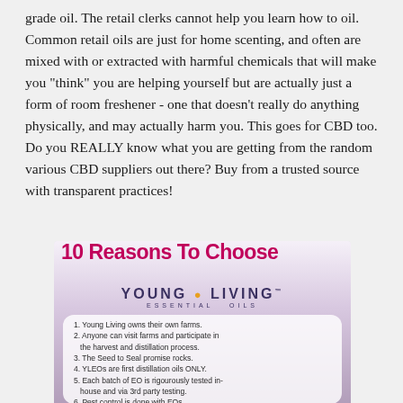grade oil. The retail clerks cannot help you learn how to oil. Common retail oils are just for home scenting, and often are mixed with or extracted with harmful chemicals that will make you "think" you are helping yourself but are actually just a form of room freshener - one that doesn't really do anything physically, and may actually harm you. This goes for CBD too. Do you REALLY know what you are getting from the random various CBD suppliers out there? Buy from a trusted source with transparent practices!
[Figure (infographic): Infographic titled '10 Reasons To Choose Young Living Essential Oils' with a list of reasons including: 1. Young Living owns their own farms. 2. Anyone can visit farms and participate in the harvest and distillation process. 3. The Seed to Seal promise rocks. 4. YLEOs are first distillation oils ONLY. 5. Each batch of EO is rigourously tested in-house and via 3rd party testing. 6. Pest control is done with EOs. 7. Weed control is by hand.]